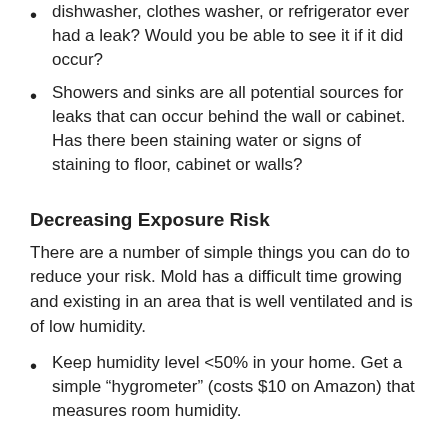dishwasher, clothes washer, or refrigerator ever had a leak? Would you be able to see it if it did occur?
Showers and sinks are all potential sources for leaks that can occur behind the wall or cabinet. Has there been staining water or signs of staining to floor, cabinet or walls?
Decreasing Exposure Risk
There are a number of simple things you can do to reduce your risk. Mold has a difficult time growing and existing in an area that is well ventilated and is of low humidity.
Keep humidity level <50% in your home. Get a simple “hygrometer” (costs $10 on Amazon) that measures room humidity.